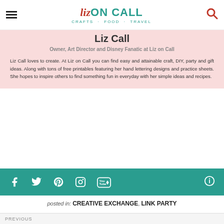Liz ON CALL · CRAFTS · FOOD · TRAVEL
Liz Call
Owner, Art Director and Disney Fanatic at Liz on Call
Liz Call loves to create. At Liz on Call you can find easy and attainable craft, DIY, party and gift ideas. Along with tons of free printables featuring her hand lettering designs and practice sheets. She hopes to inspire others to find something fun in everyday with her simple ideas and recipes.
[Figure (infographic): Teal social media bar with icons for Facebook, Twitter, Pinterest, Instagram, YouTube, and an info button]
posted in: CREATIVE EXCHANGE, LINK PARTY
[Figure (photo): Bottom strip showing start of previous post thumbnail]